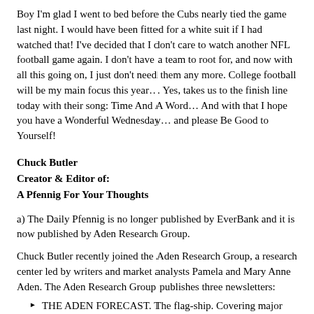Boy I'm glad I went to bed before the Cubs nearly tied the game last night. I would have been fitted for a white suit if I had watched that! I've decided that I don't care to watch another NFL football game again. I don't have a team to root for, and now with all this going on, I just don't need them any more. College football will be my main focus this year… Yes, takes us to the finish line today with their song: Time And A Word… And with that I hope you have a Wonderful Wednesday… and please Be Good to Yourself!
Chuck Butler
Creator & Editor of:
A Pfennig For Your Thoughts
a) The Daily Pfennig is no longer published by EverBank and it is now published by Aden Research Group.
Chuck Butler recently joined the Aden Research Group, a research center led by writers and market analysts Pamela and Mary Anne Aden. The Aden Research Group publishes three newsletters:
THE ADEN FORECAST. The flag-ship. Covering major markets and providing specific investment recommendations for over 35
and providing specific investment recommendations for over 35